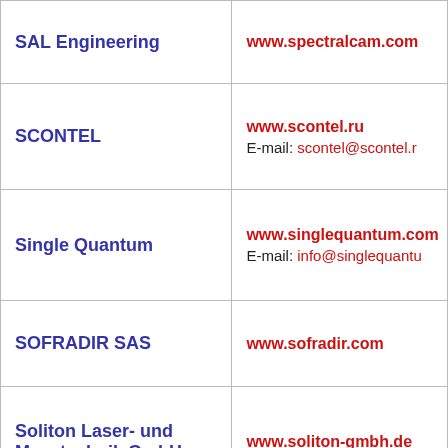| Company | Contact |
| --- | --- |
| SAL Engineering | www.spectralcam.com |
| SCONTEL | www.scontel.ru
E-mail: scontel@scontel.r |
| Single Quantum | www.singlequantum.com
E-mail: info@singlequantu |
| SOFRADIR SAS | www.sofradir.com |
| Soliton Laser- und Messtechnik GmbH | www.soliton-gmbh.de |
| SphereOptics GmbH | sphereoptics.de/en |
| STANDA Ltd. | www.standa.lt |
|  |  |